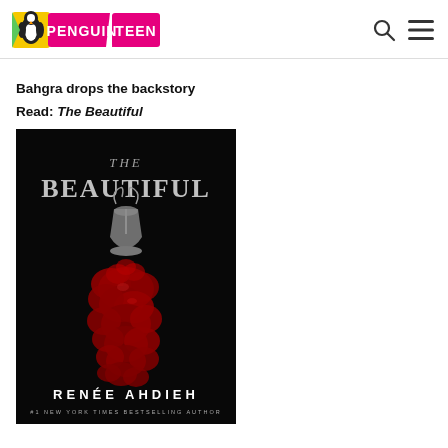PENGUIN TEEN
Bahgra drops the backstory
Read: The Beautiful
[Figure (illustration): Book cover of 'The Beautiful' by Renée Ahdieh. Dark/black background with the title 'THE BEAUTIFUL' in large silver/grey ornate letters at the top. In the center, a decorative silver goblet or bell with swirling designs pours red roses downward into a large pile. At the bottom, the author name 'RENÉE AHDIEH' in large white letters, with '#1 NEW YORK TIMES BESTSELLING AUTHOR' below.]